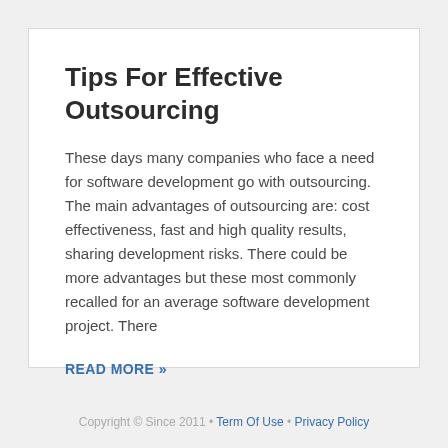Tips For Effective Outsourcing
These days many companies who face a need for software development go with outsourcing. The main advantages of outsourcing are: cost effectiveness, fast and high quality results, sharing development risks. There could be more advantages but these most commonly recalled for an average software development project. There
READ MORE »
Copyright © Since 2011 • Term Of Use • Privacy Policy